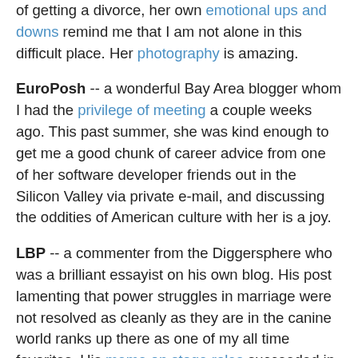of getting a divorce, her own emotional ups and downs remind me that I am not alone in this difficult place. Her photography is amazing.
EuroPosh -- a wonderful Bay Area blogger whom I had the privilege of meeting a couple weeks ago. This past summer, she was kind enough to get me a good chunk of career advice from one of her software developer friends out in the Silicon Valley via private e-mail, and discussing the oddities of American culture with her is a joy.
LBP -- a commenter from the Diggersphere who was a brilliant essayist on his own blog. His post lamenting that power struggles in marriage were not resolved as cleanly as they are in the canine world ranks up there as one of my all time favorites. His meme on stage roles succeeded in getting let my hair down a bit in this space. (tongue planted firmly in cheek) I only wish he would have explained those enigmatic *ding* posts before closing down his blog.
C-Marie -- a loyal reader and encouraging commenter who has toughed it out during my job search despite her own